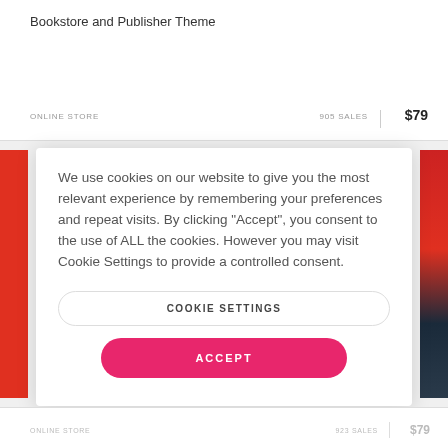Bookstore and Publisher Theme
ONLINE STORE   905 SALES   $79
We use cookies on our website to give you the most relevant experience by remembering your preferences and repeat visits. By clicking “Accept”, you consent to the use of ALL the cookies. However you may visit Cookie Settings to provide a controlled consent.
COOKIE SETTINGS
ACCEPT
ONLINE STORE   923 SALES   $79